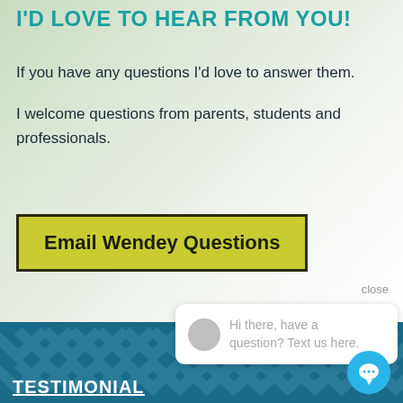I'D LOVE TO HEAR FROM YOU!
If you have any questions I'd love to answer them.

I welcome questions from parents, students and professionals.
Email Wendey Questions
close
Hi there, have a question? Text us here.
TESTIMONIAL